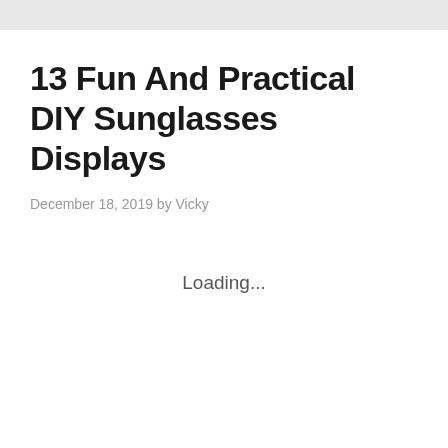13 Fun And Practical DIY Sunglasses Displays
December 18, 2019 by Vicky
Loading...